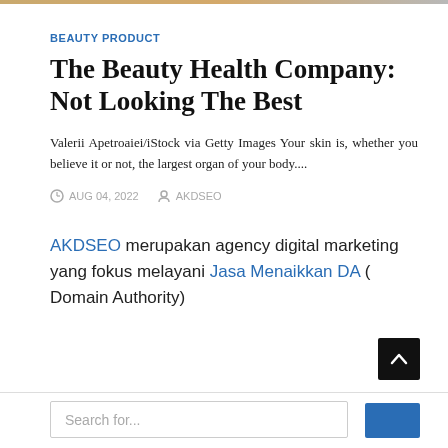BEAUTY PRODUCT
The Beauty Health Company: Not Looking The Best
Valerii Apetroaiei/iStock via Getty Images Your skin is, whether you believe it or not, the largest organ of your body....
AUG 04, 2022   AKDSEO
AKDSEO merupakan agency digital marketing yang fokus melayani Jasa Menaikkan DA ( Domain Authority)
Search for...